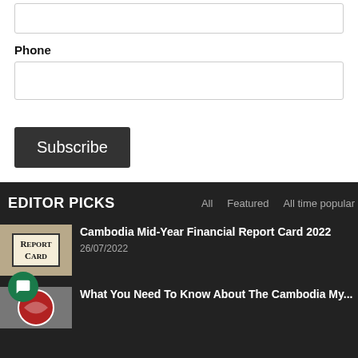[Figure (screenshot): Empty text input field (top of page, partially visible)]
Phone
[Figure (screenshot): Empty phone input field]
Subscribe
EDITOR PICKS
All   Featured   All time popular
[Figure (photo): Report Card image with envelope]
Cambodia Mid-Year Financial Report Card 2022
26/07/2022
What You Need To Know About The Cambodia My...